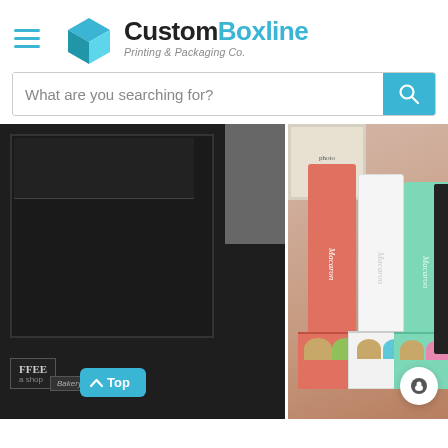[Figure (logo): CustomBoxline logo with blue 3D box icon and text 'CustomBoxline Printing & Packaging Co.']
What are you searching for?
[Figure (photo): Left: black box product photo with coffee shop branding and 'Top' navigation button overlay. Right: macaron boxes in coral/pink, white, and mint/green colors labeled 'Macaron' in script, with colorful macarons visible inside open drawers, displayed on a wooden surface with a photo frame in background.]